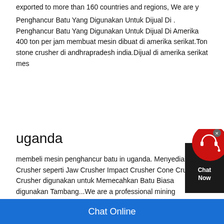exported to more than 160 countries and regions, We are y
Penghancur Batu Yang Digunakan Untuk Dijual Di . Penghancur Batu Yang Digunakan Untuk Dijual Di Amerika 400 ton per jam membuat mesin dibuat di amerika serikat.Ton stone crusher di andhrapradesh india.Dijual di amerika serikat mes
uganda
membeli mesin penghancur batu in uganda. Menyediakan Crusher seperti Jaw Crusher Impact Crusher Cone Crusher Crusher digunakan untuk Memecahkan Batu Biasa digunakan Tambang...We are a professional mining machinery manufacturer main equipment including: jaw crusher, cone crusher and other sandstone equipment;Ball mill, flotation machine, concentra
[Figure (other): Chat Now widget with red circular icon containing headset symbol and dark background with 'Chat Now' text, with close X button]
Chat Online